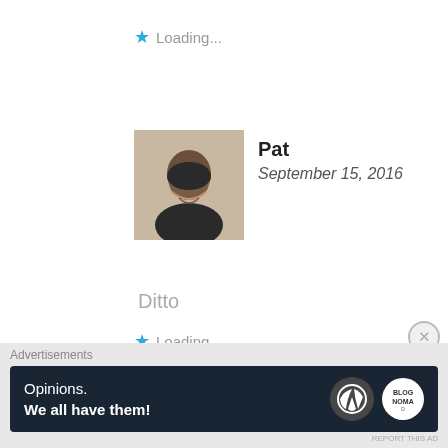Loading...
Pat
September 15, 2016
Ditto
Loading...
beautybeyondbones
September 15, 2016
♥ ♥ ♥
Advertisements
Opinions. We all have them!